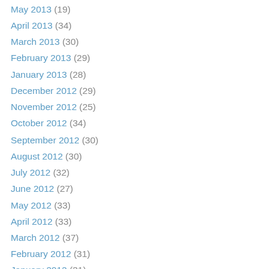May 2013 (19)
April 2013 (34)
March 2013 (30)
February 2013 (29)
January 2013 (28)
December 2012 (29)
November 2012 (25)
October 2012 (34)
September 2012 (30)
August 2012 (30)
July 2012 (32)
June 2012 (27)
May 2012 (33)
April 2012 (33)
March 2012 (37)
February 2012 (31)
January 2012 (31)
December 2011 (33)
November 2011 (41)
October 2011 (40)